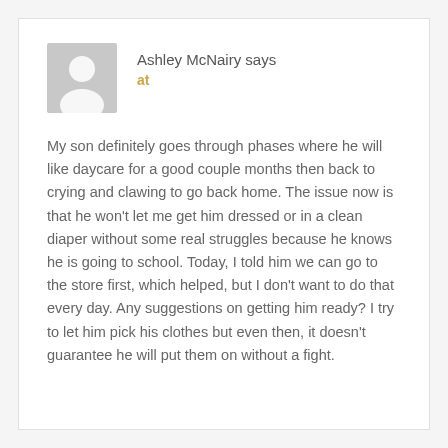Ashley McNairy says
at
My son definitely goes through phases where he will like daycare for a good couple months then back to crying and clawing to go back home. The issue now is that he won't let me get him dressed or in a clean diaper without some real struggles because he knows he is going to school. Today, I told him we can go to the store first, which helped, but I don't want to do that every day. Any suggestions on getting him ready? I try to let him pick his clothes but even then, it doesn't guarantee he will put them on without a fight.